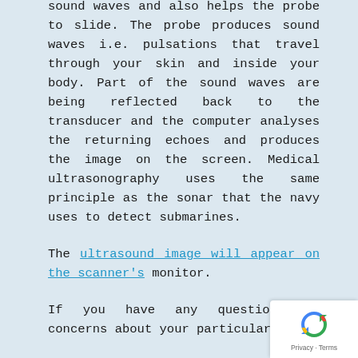sound waves and also helps the probe to slide. The probe produces sound waves i.e. pulsations that travel through your skin and inside your body. Part of the sound waves are being reflected back to the transducer and the computer analyses the returning echoes and produces the image on the screen. Medical ultrasonography uses the same principle as the sonar that the navy uses to detect submarines.
The ultrasound image will appear on the scanner's monitor.
If you have any questions or concerns about your particular